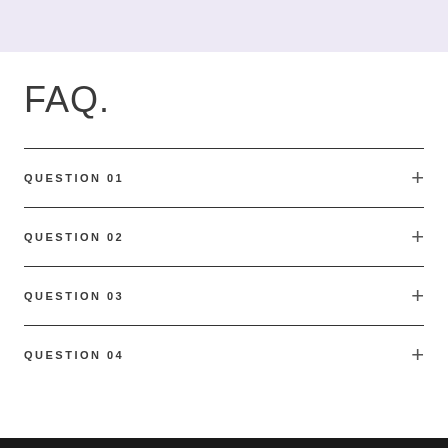FAQ.
QUESTION 01
QUESTION 02
QUESTION 03
QUESTION 04